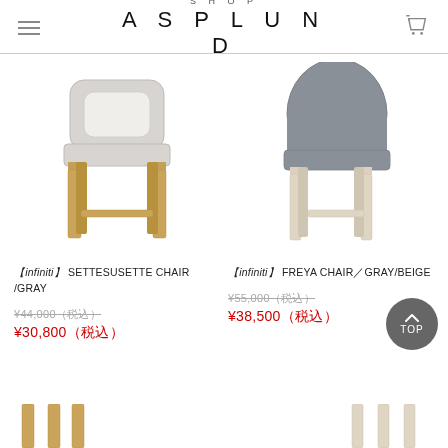SHOP ASPLUND
[Figure (photo): Chair product photo: SETTESUSETTE CHAIR in gray with wooden legs (infiniti brand)]
【infiniti】SETTESUSETTE CHAIR /GRAY
¥44,000（税込）
¥30,800（税込）
[Figure (photo): Chair product photo: FREYA CHAIR in gray/beige with light beige wooden legs (infiniti brand)]
【infiniti】FREYA CHAIR／GRAY/BEIGE
¥55,000（税込）
¥38,500（税込）